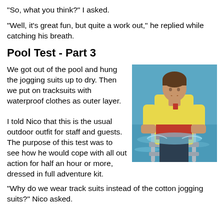"So, what you think?" I asked.
"Well, it's great fun, but quite a work out," he replied while catching his breath.
Pool Test - Part 3
[Figure (photo): Person in yellow waterproof jacket and red vest climbing out of a swimming pool using metal rails, water splashing around them.]
We got out of the pool and hung the jogging suits up to dry. Then we put on tracksuits with waterproof clothes as outer layer.

I told Nico that this is the usual outdoor outfit for staff and guests. The purpose of this test was to see how he would cope with all out action for half an hour or more, dressed in full adventure kit.
"Why do we wear track suits instead of the cotton jogging suits?" Nico asked.